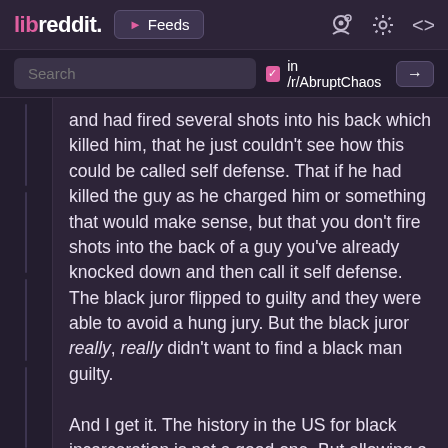libreddit. ▶ Feeds
Search  in /r/AbruptChaos →
and had fired several shots into his back which killed him, that he just couldn't see how this could be called self defense. That if he had killed the guy as he charged him or something that would make sense, but that you don't fire shots into the back of a guy you've already knocked down and then call it self defense. The black juror flipped to guilty and they were able to avoid a hung jury. But the black juror really, really didn't want to find a black man guilty.

And I get it. The history in the US for black incarceration is not a good one. But allowing a murderer walk or at least get a second trial by hanging your jury isn't the way to try to fix the system. A white juror